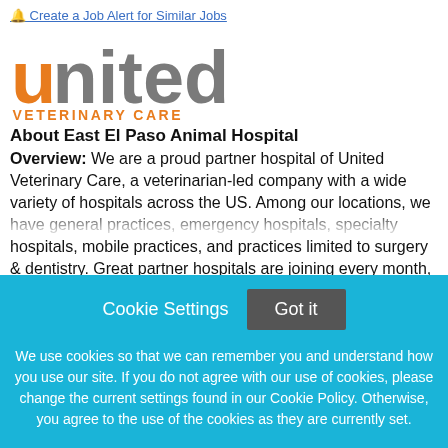🔔 Create a Job Alert for Similar Jobs
[Figure (logo): United Veterinary Care logo — 'united' in large gray lowercase letters with an orange 'u' arc, above 'VETERINARY CARE' in orange spaced capitals]
About East El Paso Animal Hospital
Overview: We are a proud partner hospital of United Veterinary Care, a veterinarian-led company with a wide variety of hospitals across the US. Among our locations, we have general practices, emergency hospitals, specialty hospitals, mobile practices, and practices limited to surgery & dentistry. Great partner hospitals are joining every month, expanding this network of phenomenal colleagues across the nation. Being part of a larger network brings in excellent opportunities to collaborate, provides a structured
Cookie Settings   Got it

We use cookies so that we can remember you and understand how you use our site. If you do not agree with our use of cookies, please change the current settings found in our Cookie Policy. Otherwise, you agree to the use of the cookies as they are currently set.